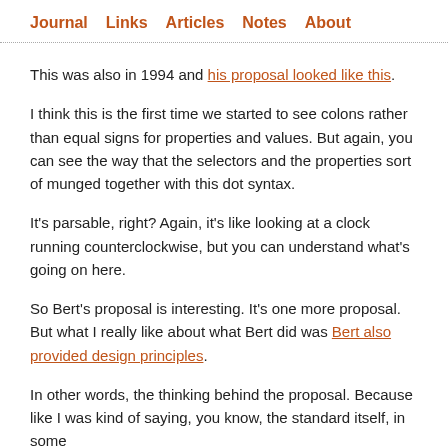Journal  Links  Articles  Notes  About
This was also in 1994 and his proposal looked like this.
I think this is the first time we started to see colons rather than equal signs for properties and values. But again, you can see the way that the selectors and the properties sort of munged together with this dot syntax.
It's parsable, right? Again, it's like looking at a clock running counterclockwise, but you can understand what's going on here.
So Bert's proposal is interesting. It's one more proposal. But what I really like about what Bert did was Bert also provided design principles.
In other words, the thinking behind the proposal. Because like I was kind of saying, you know, the standard itself, in some